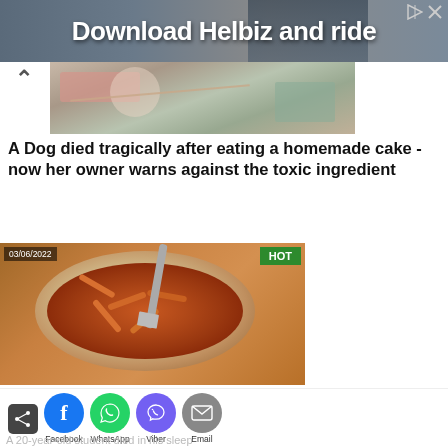[Figure (screenshot): Advertisement banner for Helbiz app with text 'Download Helbiz and ride' on a dark background with a person using a scooter]
[Figure (photo): News article thumbnail image showing a scene related to a dog story]
A Dog died tragically after eating a homemade cake - now her owner warns against the toxic ingredient
[Figure (photo): Photo of a plate of pasta with tomato sauce and a fork, dated 03/06/2022, labeled HOT]
[Figure (screenshot): Social sharing bar with icons for share, Facebook, WhatsApp, Viber, and Email]
A 20-year-old student died in his sleep -